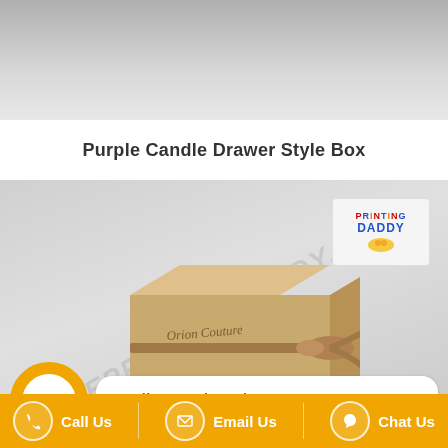[Figure (photo): Top portion of a product image showing a light grey textured background]
Purple Candle Drawer Style Box
[Figure (photo): Product photo of a kraft cardboard drawer-style gift box with a satin ribbon bow, branded with 'Orion Couture' text. A Printing Daddy logo appears in the top right corner. A watermark reading 'THEPRINTINGDADDY.COM' is overlaid diagonally. A chat widget shows an orange avatar and bubble with 'Hello, Nathan here,']
Hello, Nathan here,
Call Us   Email Us   Chat Us